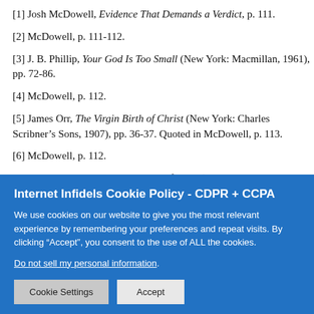[1] Josh McDowell, Evidence That Demands a Verdict, p. 111.
[2] McDowell, p. 111-112.
[3] J. B. Phillip, Your God Is Too Small (New York: Macmillan, 1961), pp. 72-86.
[4] McDowell, p. 112.
[5] James Orr, The Virgin Birth of Christ (New York: Charles Scribner’s Sons, 1907), pp. 36-37. Quoted in McDowell, p. 113.
[6] McDowell, p. 112.
[7] Jane Schaberg, The Illegitimacy of Jesus (San Francisco:
Internet Infidels Cookie Policy - CDPR + CCPA
We use cookies on our website to give you the most relevant experience by remembering your preferences and repeat visits. By clicking “Accept”, you consent to the use of ALL the cookies.
Do not sell my personal information.
Cookie Settings   Accept